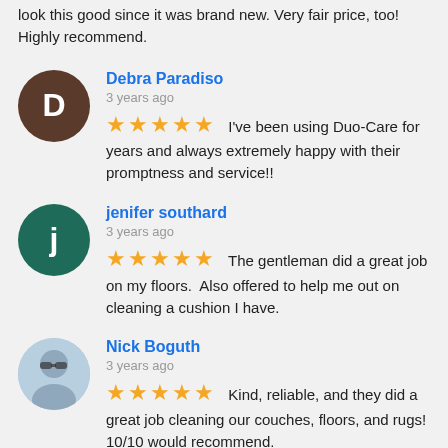look this good since it was brand new. Very fair price, too! Highly recommend.
Debra Paradiso
3 years ago
★★★★★ I've been using Duo-Care for years and always extremely happy with their promptness and service!!
jenifer southard
3 years ago
★★★★★ The gentleman did a great job on my floors.  Also offered to help me out on cleaning a cushion I have.
Nick Boguth
3 years ago
★★★★★ Kind, reliable, and they did a great job cleaning our couches, floors, and rugs! 10/10 would recommend.
Jeanette Taylor
3 years ago